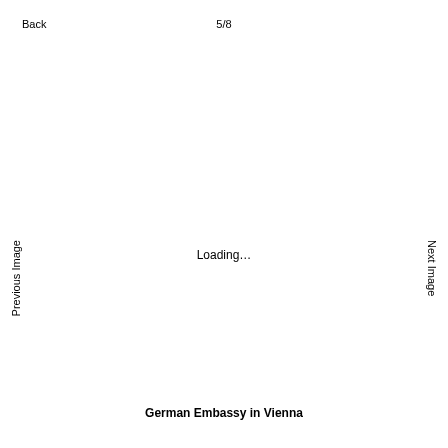Back
5/8
Previous Image
Next Image
Loading…
German Embassy in Vienna